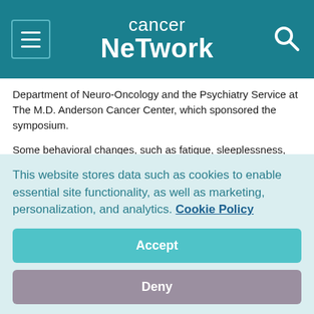cancer network
Department of Neuro-Oncology and the Psychiatry Service at The M.D. Anderson Cancer Center, which sponsored the symposium.
Some behavioral changes, such as fatigue, sleeplessness, and weight loss, are routinely associated with illness; others, such as hallucinations, are more telling of a condition that may require urgent attention, Dr. Valentine said.
Several types of neuropsychiatric diseases are associated with cancer and cancer treatments, he said, and in some cases, the
This website stores data such as cookies to enable essential site functionality, as well as marketing, personalization, and analytics. Cookie Policy
Accept
Deny